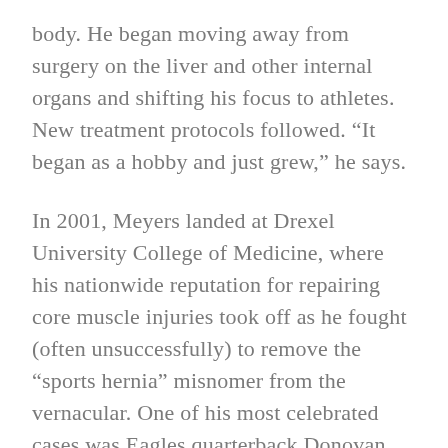body. He began moving away from surgery on the liver and other internal organs and shifting his focus to athletes. New treatment protocols followed. “It began as a hobby and just grew,” he says.
In 2001, Meyers landed at Drexel University College of Medicine, where his nationwide reputation for repairing core muscle injuries took off as he fought (often unsuccessfully) to remove the “sports hernia” misnomer from the vernacular. One of his most celebrated cases was Eagles quarterback Donovan McNabb. “He put core muscle surgery on the public map,” says Meyers, who operated on McNabb in 2005.